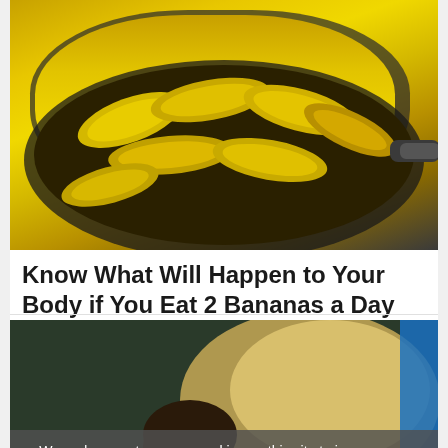[Figure (photo): Photo of sliced bananas cooking in a dark pan, seen from above]
Know What Will Happen to Your Body if You Eat 2 Bananas a Day
Bananas | Sponsored
[Figure (photo): Young woman with glasses sitting in a vehicle, looking thoughtful, with sunlight coming through the window]
We and our partners use cookies on this site to improve our service, perform analytics, personalize advertising, measure advertising performance, and remember website preferences.
Ok